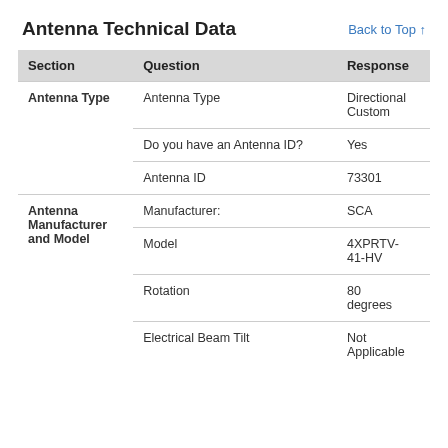Antenna Technical Data
Back to Top ↑
| Section | Question | Response |
| --- | --- | --- |
| Antenna Type | Antenna Type | Directional Custom |
|  | Do you have an Antenna ID? | Yes |
|  | Antenna ID | 73301 |
| Antenna Manufacturer and Model | Manufacturer: | SCA |
|  | Model | 4XPRTV-41-HV |
|  | Rotation | 80 degrees |
|  | Electrical Beam Tilt | Not Applicable |